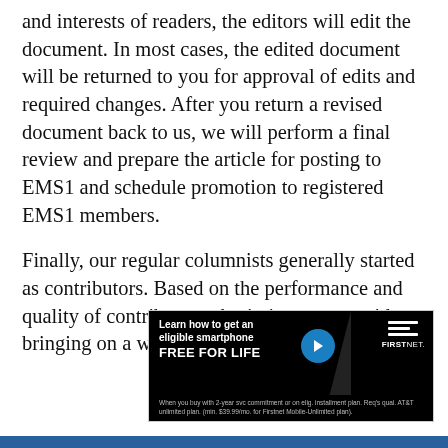and interests of readers, the editors will edit the document. In most cases, the edited document will be returned to you for approval of edits and required changes. After you return a revised document back to us, we will perform a final review and prepare the article for posting to EMS1 and schedule promotion to registered EMS1 members.
Finally, our regular columnists generally started as contributors. Based on the performance and quality of contributor submissions we consider bringing on a writer as a regular columnist.
[Figure (other): FirstNet advertisement. Black background with text: 'Learn how to get an eligible smartphone FREE FOR LIFE' with a blue circle arrow icon and FirstNet logo (three horizontal bars). Fine print: 'When you buy with 2-year svc commitment or on elig. installment plan. Req's qual. AT&T unlimited plan. (min. $39.99/mo. for Firstnet Mobile-Unlimited plan).']